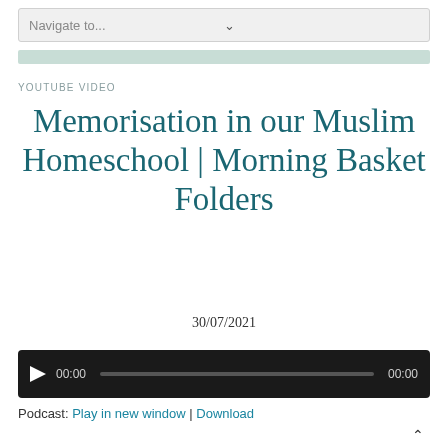[Figure (screenshot): Navigation dropdown bar with 'Navigate to...' text and chevron]
[Figure (screenshot): Teal/mint colored horizontal bar]
YOUTUBE VIDEO
Memorisation in our Muslim Homeschool | Morning Basket Folders
30/07/2021
[Figure (screenshot): Audio player with play button, time display 00:00, progress bar, and end time 00:00]
Podcast: Play in new window | Download